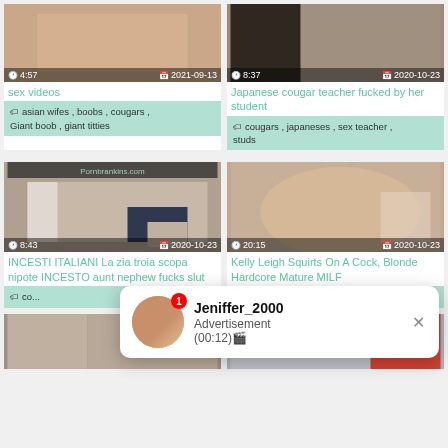[Figure (photo): Video thumbnail top left with duration 4:57 and date 2021-09-13]
[Figure (photo): Video thumbnail top right with duration 8:37 and date 2020-10-23]
sex videos
Japanese cougar teacher fucked by her student
asian wifes , boobs , cougars , Giant boob , giant titties
cougars , japaneses , sex teacher , studs
[Figure (photo): Video thumbnail middle left with duration 8:43 and date 2020-10-23]
[Figure (photo): Video thumbnail middle right with duration 20:15 and date 2020-10-23]
INCESTI ITALIANI La zia troia scopa nipote INCESTO aunt nephew fucks slut
Kelly Leigh Squirts On A Cock, Blonde Hardcore Mature MILF
co...
blonde , cougars , cream ,
[Figure (photo): Video thumbnail bottom left partial]
[Figure (photo): Video thumbnail bottom right partial]
Jeniffer_2000
Advertisement
(00:12)🎬